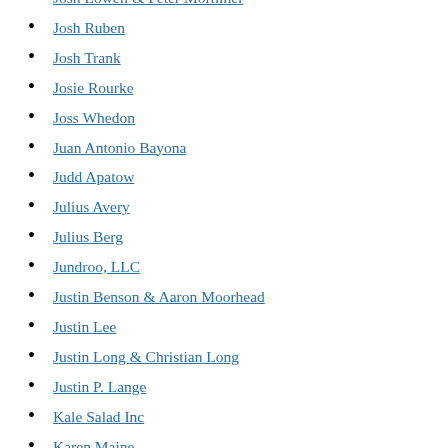Josh Lowell & Peter Mortimer
Josh Ruben
Josh Trank
Josie Rourke
Joss Whedon
Juan Antonio Bayona
Judd Apatow
Julius Avery
Julius Berg
Jundroo, LLC
Justin Benson & Aaron Moorhead
Justin Lee
Justin Long & Christian Long
Justin P. Lange
Kale Salad Inc
Karen Maine
Karey Kirkpatrick
Kathryn Bigelow